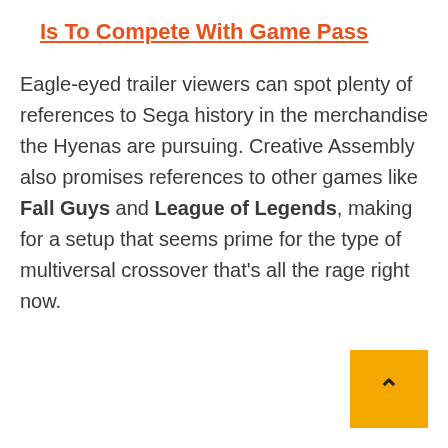Is To Compete With Game Pass
Eagle-eyed trailer viewers can spot plenty of references to Sega history in the merchandise the Hyenas are pursuing. Creative Assembly also promises references to other games like Fall Guys and League of Legends, making for a setup that seems prime for the type of multiversal crossover that’s all the rage right now.